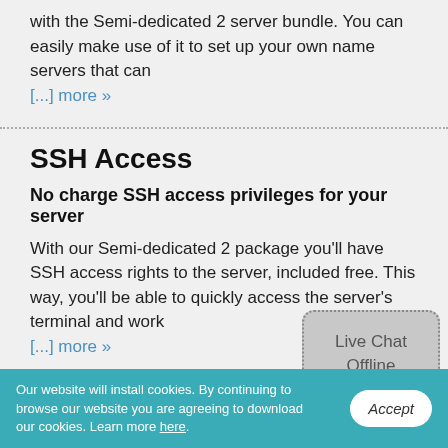with the Semi-dedicated 2 server bundle. You can easily make use of it to set up your own name servers that can [...] more »
SSH Access
No charge SSH access privileges for your server
With our Semi-dedicated 2 package you'll have SSH access rights to the server, included free. This way, you'll be able to quickly access the server's terminal and work [...] more »
24x7 Support
Our website will install cookies. By continuing to browse our website you are agreeing to download our cookies. Learn more here.